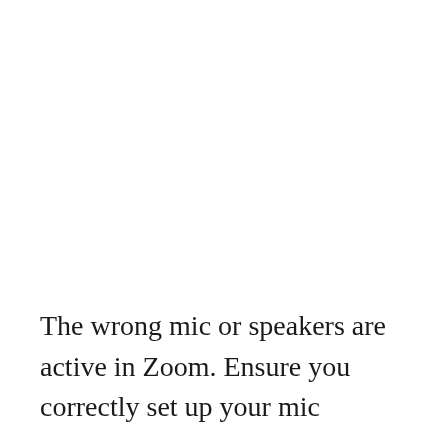The wrong mic or speakers are active in Zoom. Ensure you correctly set up your mic